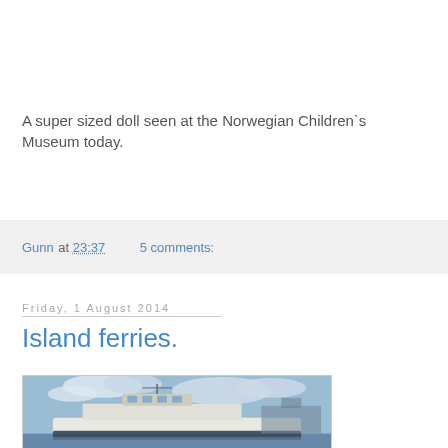A super sized doll seen at the Norwegian Children`s Museum today.
Gunn at 23:37    5 comments:
Friday, 1 August 2014
Island ferries.
[Figure (photo): A ferry boat photographed against a partly cloudy sky, showing the upper deck and bridge structure of the vessel with harbour infrastructure visible in the background.]